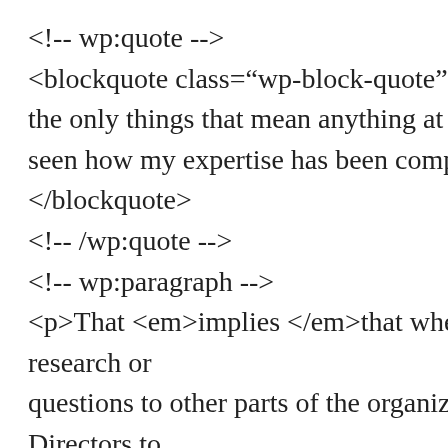<!-- wp:quote --> <blockquote class="wp-block-quote"><p>I u the only things that mean anything at Google seen how my expertise has been completely e </blockquote> <!-- /wp:quote --> <!-- wp:paragraph --> <p>That <em>implies </em>that when Timm research or questions to other parts of the organization ( Directors to enable Google to tackle ethical/diversity prob she was dismissed because